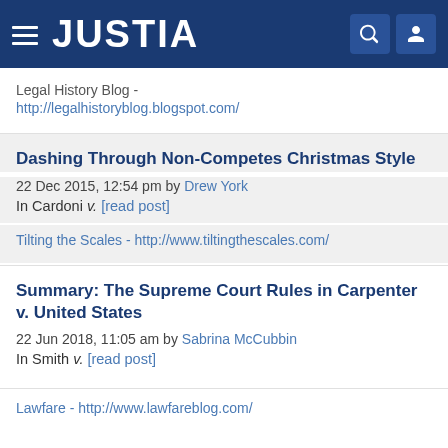JUSTIA
Legal History Blog - http://legalhistoryblog.blogspot.com/
Dashing Through Non-Competes Christmas Style
22 Dec 2015, 12:54 pm by Drew York
In Cardoni v. [read post]
Tilting the Scales - http://www.tiltingthescales.com/
Summary: The Supreme Court Rules in Carpenter v. United States
22 Jun 2018, 11:05 am by Sabrina McCubbin
In Smith v. [read post]
Lawfare - http://www.lawfareblog.com/